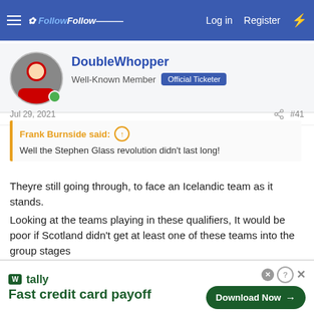FollowFollow — Log in  Register
DoubleWhopper
Well-Known Member  Official Ticketer
Jul 29, 2021  #41
Frank Burnside said: ↑
Well the Stephen Glass revolution didn't last long!
Theyre still going through, to face an Icelandic team as it stands.
Looking at the teams playing in these qualifiers, It would be poor if Scotland didn't get at least one of these teams into the group stages
[Figure (other): Tally app advertisement — Fast credit card payoff — Download Now button]